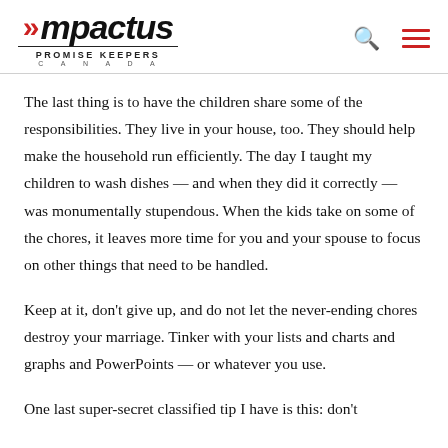Impactus PROMISE KEEPERS CANADA
The last thing is to have the children share some of the responsibilities. They live in your house, too. They should help make the household run efficiently. The day I taught my children to wash dishes — and when they did it correctly — was monumentally stupendous. When the kids take on some of the chores, it leaves more time for you and your spouse to focus on other things that need to be handled.
Keep at it, don't give up, and do not let the never-ending chores destroy your marriage. Tinker with your lists and charts and graphs and PowerPoints — or whatever you use.
One last super-secret classified tip I have is this: don't